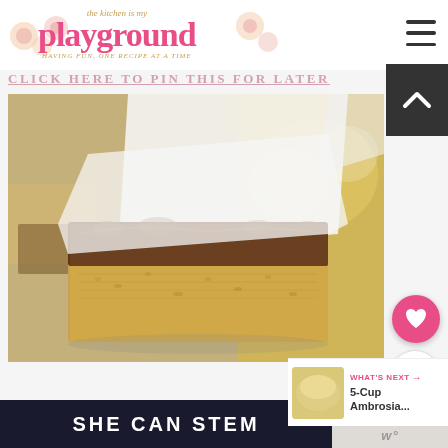the kitchen is my playground — HAVING FUN, ONE RECIPE AT A TIME
CLICK HERE TO PIN THIS FOR LATER
[Figure (photo): Close-up photo of a dessert bar with a thick chocolate fudge topping over an oat/rice crispy base, held up with white parchment paper, with more bars blurred in background]
WHAT'S NEXT → 5-Cup Ambrosia...
SHE CAN STEM